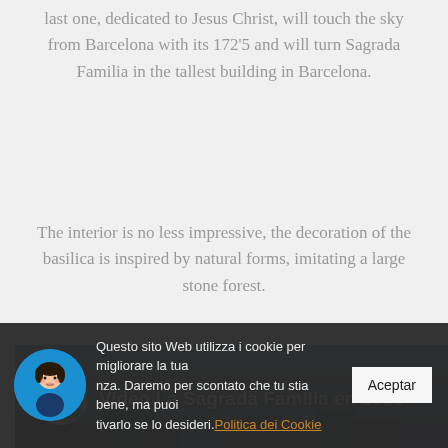last one, dedicated to Jesus Christ, will touch the sky from Barcelona with its 172'5 and will turn Sagrada Familia in the tallest building in Barcelona.
The interior is no less impressive, the decoration of the basilica is inspired by natural forms, imitating a large stone forest.
[Figure (screenshot): Video thumbnail showing aerial view of Barcelona cityscape with overlay text 'Video La Sagrada Familia en 2026' and a circular icon of Big Ben/London landmark]
Questo sito Web utilizza i cookie per migliorare la tua esperienza. Daremo per scontato che tu stia bene, ma puoi disattivarlo se lo desideri. Politica dei Cookie [Aceptar button]